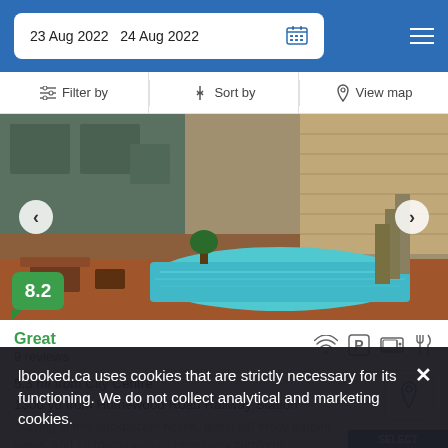23 Aug 2022  24 Aug 2022
Filter by  Sort by  View map
[Figure (photo): Hotel outdoor area with swimming pool, wooden deck, outdoor furniture, and stone wall building in background]
8.2
Great
9 reviews
5.3 mi from City Centre
1300 yd from Humewood Road Railway Station
Staying at this backpacker hostel, guest will enjoy garden views, and 10 rooms with all necessary comforts.
lbooked.ca uses cookies that are strictly necessary for its functioning. We do not collect analytical and marketing cookies.